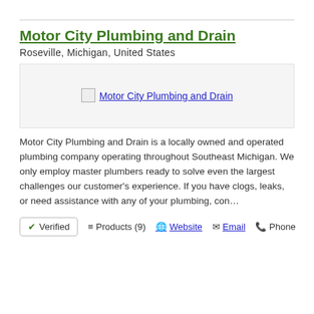Motor City Plumbing and Drain
Roseville, Michigan, United States
[Figure (logo): Motor City Plumbing and Drain company logo image placeholder with link]
Motor City Plumbing and Drain is a locally owned and operated plumbing company operating throughout Southeast Michigan. We only employ master plumbers ready to solve even the largest challenges our customer's experience. If you have clogs, leaks, or need assistance with any of your plumbing, con…
✔ Verified  ≡ Products (9)  🌐 Website  ✉ Email  📞 Phone